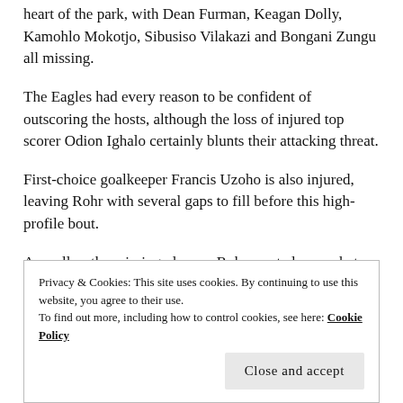heart of the park, with Dean Furman, Keagan Dolly, Kamohlo Mokotjo, Sibusiso Vilakazi and Bongani Zungu all missing.
The Eagles had every reason to be confident of outscoring the hosts, although the loss of injured top scorer Odion Ighalo certainly blunts their attacking threat.
First-choice goalkeeper Francis Uzoho is also injured, leaving Rohr with several gaps to fill before this high-profile bout.
As well as the missing players, Rohr must also combat the testing altitude that they'll encounter at the FNB Stadium.
Privacy & Cookies: This site uses cookies. By continuing to use this website, you agree to their use.
To find out more, including how to control cookies, see here: Cookie Policy
Close and accept